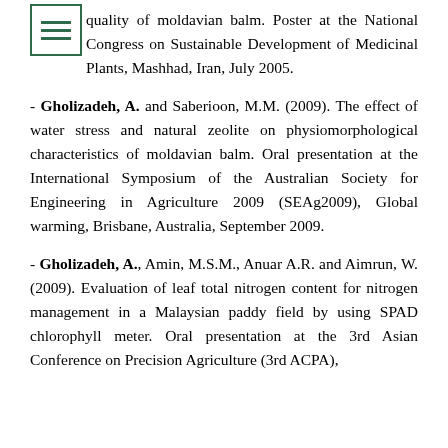quality of moldavian balm. Poster at the National Congress on Sustainable Development of Medicinal Plants, Mashhad, Iran, July 2005.
- Gholizadeh, A. and Saberioon, M.M. (2009). The effect of water stress and natural zeolite on physiomorphological characteristics of moldavian balm. Oral presentation at the International Symposium of the Australian Society for Engineering in Agriculture 2009 (SEAg2009), Global warming, Brisbane, Australia, September 2009.
- Gholizadeh, A., Amin, M.S.M., Anuar A.R. and Aimrun, W. (2009). Evaluation of leaf total nitrogen content for nitrogen management in a Malaysian paddy field by using SPAD chlorophyll meter. Oral presentation at the 3rd Asian Conference on Precision Agriculture (3rd ACPA),